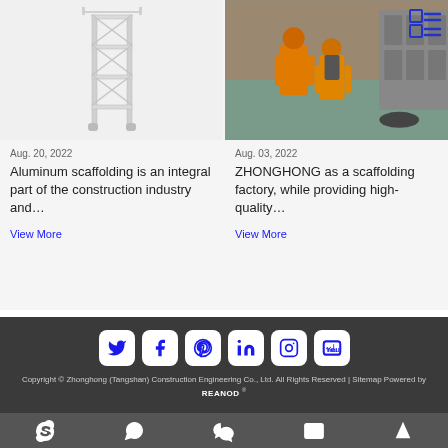[Figure (photo): Aluminum scaffolding tower product photo on white/light background]
Aug. 20, 2022
Aluminum scaffolding is an integral part of the construction industry and…
View More
[Figure (photo): Workers in orange protective suits in an industrial facility]
Aug. 03, 2022
ZHONGHONG as a scaffolding factory, while providing high-quality…
View More
[Figure (infographic): Social media icons: Twitter, Facebook, Pinterest, LinkedIn, Instagram, YouTube]
Copyright © Zhonghong (Tangshan) Construction Engineering Co., Ltd. All Rights Reserved | Sitemap Powered by REANOD ®
Skype, WhatsApp, WeChat, Email, Top icons in bottom bar